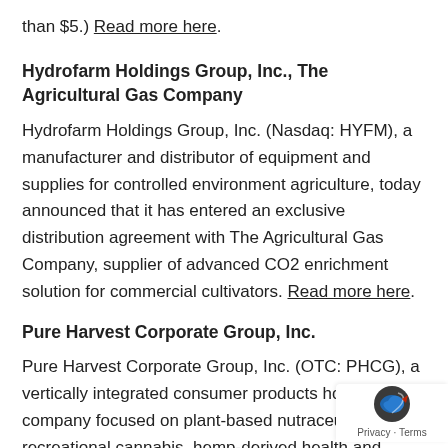than $5.) Read more here.
Hydrofarm Holdings Group, Inc., The Agricultural Gas Company
Hydrofarm Holdings Group, Inc. (Nasdaq: HYFM), a manufacturer and distributor of equipment and supplies for controlled environment agriculture, today announced that it has entered an exclusive distribution agreement with The Agricultural Gas Company, supplier of advanced CO2 enrichment solution for commercial cultivators. Read more here.
Pure Harvest Corporate Group, Inc.
Pure Harvest Corporate Group, Inc. (OTC: PHCG), a vertically integrated consumer products holding company focused on plant-based nutraceuticals, recreational cannabis, hemp-derived health and wellness products, and other emerging industries, today announces a positive corporate event has resulted in a significant reduction in corporate debt. Read more here.